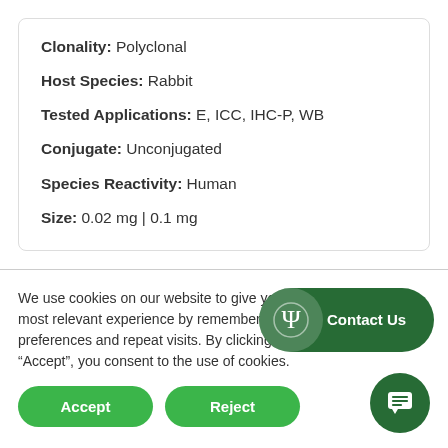Clonality: Polyclonal
Host Species: Rabbit
Tested Applications: E, ICC, IHC-P, WB
Conjugate: Unconjugated
Species Reactivity: Human
Size: 0.02 mg | 0.1 mg
We use cookies on our website to give you the most relevant experience by remembering your preferences and repeat visits. By clicking “Accept”, you consent to the use of cookies.
Accept
Reject
Contact Us